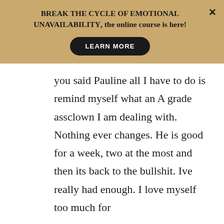BREAK THE CYCLE OF EMOTIONAL UNAVAILABILITY, the online course is here!
LEARN MORE
you said Pauline all I have to do is remind myself what an A grade assclown I am dealing with. Nothing ever changes. He is good for a week, two at the most and then its back to the bullshit. Ive really had enough. I love myself too much for